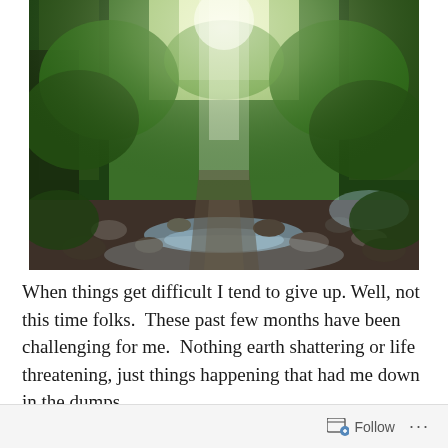[Figure (photo): A sunlit forest trail with a rocky stream or creek running through it, surrounded by lush green trees and vegetation. Bright light filters through the tree canopy.]
When things get difficult I tend to give up. Well, not this time folks.  These past few months have been challenging for me.  Nothing earth shattering or life threatening, just things happening that had me down in the dumps.
Follow ...